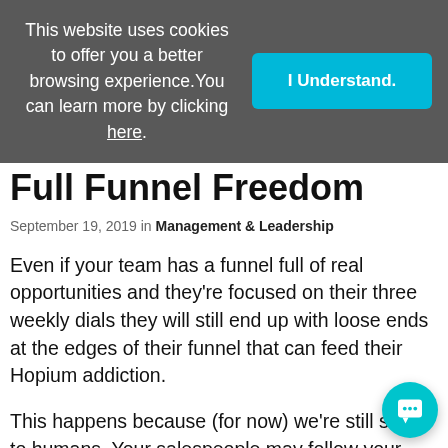This website uses cookies to offer you a better browsing experience. You can learn more by clicking here.
I Understand.
Full Funnel Freedom
September 19, 2019 in Management & Leadership
Even if your team has a funnel full of real opportunities and they're focused on their three weekly dials they will still end up with loose ends at the edges of their funnel that can feed their Hopium addiction.
This happens because (for now) we're still selling to humans. Your salespeople may follow your sales process and selling system to the letter and